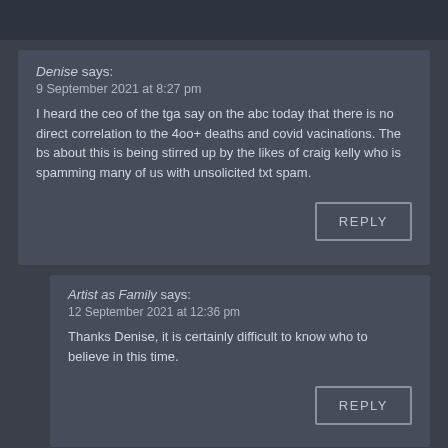Denise says:
9 September 2021 at 8:27 pm
I heard the ceo of the tga say on the abc today that there is no direct correlation to the 4oo+ deaths and covid vacinations. The bs about this is being stirred up by the likes of craig kelly who is spamming many of us with unsolicited txt spam.
Artist as Family says:
12 September 2021 at 12:36 pm
Thanks Denise, it is certainly difficult to know who to believe in this time.